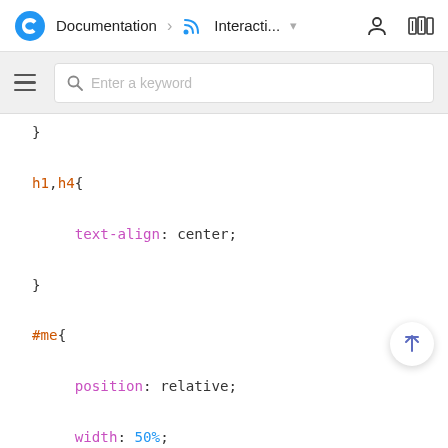Documentation > Interacti...
Enter a keyword (search bar)
}

h1,h4{

    text-align: center;

}

#me{

    position: relative;

    width: 50%;

    margin: 0 auto;

    display: block;

}

#me video{

    position: relative !important;

}